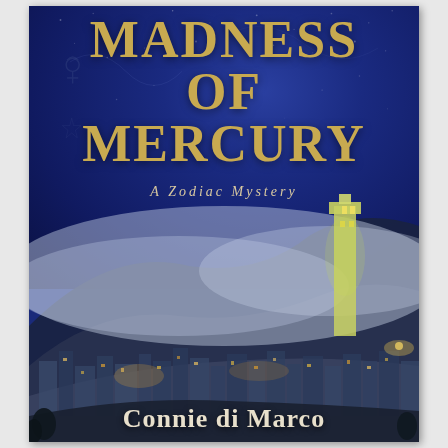[Figure (illustration): Book cover for 'The Madness of Mercury - A Zodiac Mystery' by Connie di Marco. Features a deep blue night sky with stars and astrological symbols, a misty cityscape of San Francisco with Coit Tower illuminated on the right, and warm city lights below. The title appears in large gold/yellow serif letters at the top, subtitle in smaller italic text, and author name in white serif at the bottom.]